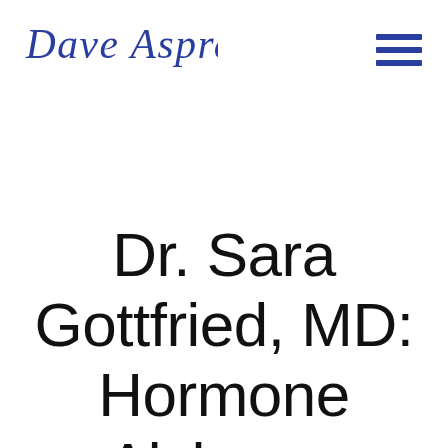Dave Asprey
Dr. Sara Gottfried, MD: Hormone Alchemy